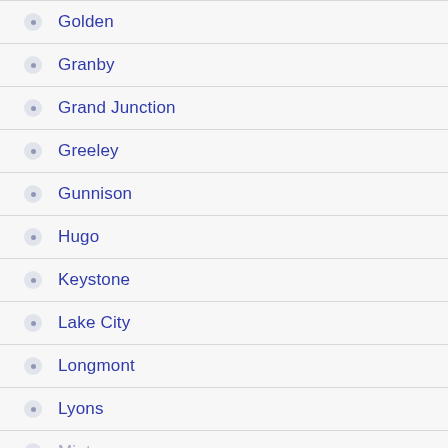Golden
Granby
Grand Junction
Greeley
Gunnison
Hugo
Keystone
Lake City
Longmont
Lyons
Minturn